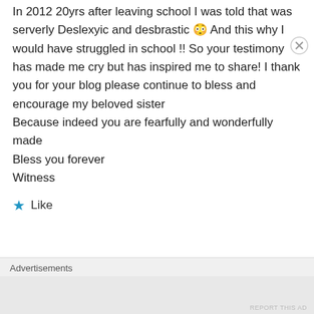In 2012 20yrs after leaving school I was told that was serverly Deslexyic and desbrastic 😳 And this why I would have struggled in school !! So your testimony has made me cry but has inspired me to share! I thank you for your blog please continue to bless and encourage my beloved sister
Because indeed you are fearfully and wonderfully made
Bless you forever
Witness
★ Like
Advertisements